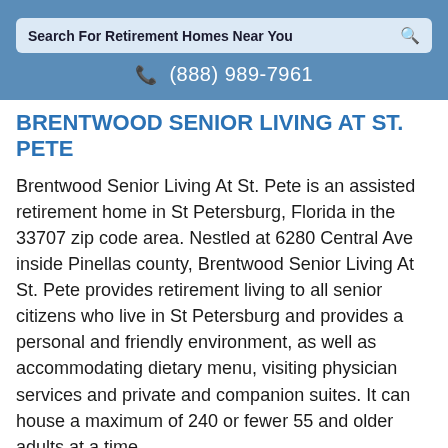Search For Retirement Homes Near You
☎ (888) 989-7961
BRENTWOOD SENIOR LIVING AT ST. PETE
Brentwood Senior Living At St. Pete is an assisted retirement home in St Petersburg, Florida in the 33707 zip code area. Nestled at 6280 Central Ave inside Pinellas county, Brentwood Senior Living At St. Pete provides retirement living to all senior citizens who live in St Petersburg and provides a personal and friendly environment, as well as accommodating dietary menu, visiting physician services and private and companion suites. It can house a maximum of 240 or fewer 55 and older adults at a time.